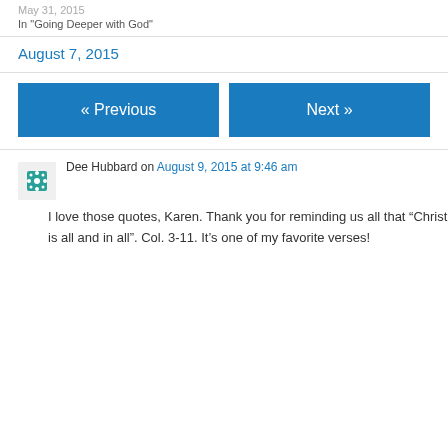May 31, 2015
In "Going Deeper with God"
August 7, 2015
« Previous
Next »
Dee Hubbard on August 9, 2015 at 9:46 am
I love those quotes, Karen. Thank you for reminding us all that “Christ is all and in all”. Col. 3-11. It’s one of my favorite verses!